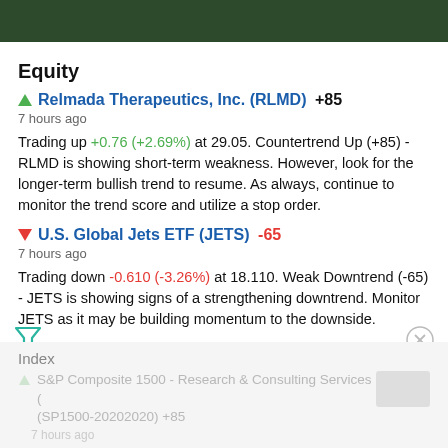[Figure (photo): Dark green header bar at top of page]
Equity
▲ Relmada Therapeutics, Inc. (RLMD) +85
7 hours ago
Trading up +0.76 (+2.69%) at 29.05. Countertrend Up (+85) - RLMD is showing short-term weakness. However, look for the longer-term bullish trend to resume. As always, continue to monitor the trend score and utilize a stop order.
▼ U.S. Global Jets ETF (JETS) -65
7 hours ago
Trading down -0.610 (-3.26%) at 18.110. Weak Downtrend (-65) - JETS is showing signs of a strengthening downtrend. Monitor JETS as it may be building momentum to the downside.
Index
▲ S&P Composite 1500 - Research & Consulting Services (SP1500-20202020) +85
7 hours ago